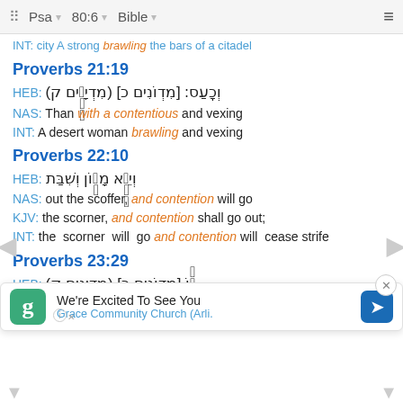Psa  80:6  Bible
INT: city A strong brawling the bars of a citadel
Proverbs 21:19
HEB: וְכַֽעַס׃ [מִדְוֹנִים כ] (מִדְיָנִים ק)
NAS: Than with a contentious and vexing
INT: A desert woman brawling and vexing
Proverbs 22:10
HEB: וְיֵצֵא מָד֣וֹן וְשִׁבַּת
NAS: out the scoffer, and contention will go
KJV: the scorner, and contention shall go out;
INT: the scorner will go and contention will cease strife
Proverbs 23:29
HEB: לֹ֤וֹ [מִדְוֹנִים כ] (מִדְיָנִים ק)
NAS:
INT: s
We're Excited To See You Grace Community Church (Arli.